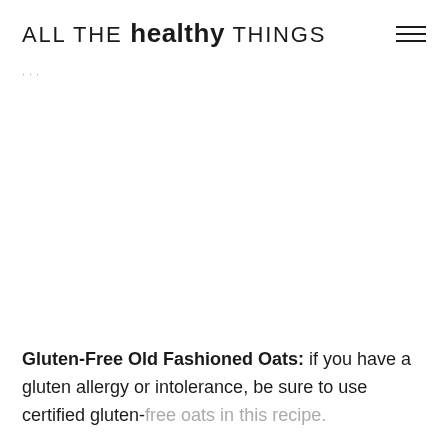ALL THE healthy THINGS
Gluten-Free Old Fashioned Oats: if you have a gluten allergy or intolerance, be sure to use certified gluten-free oats in this recipe.